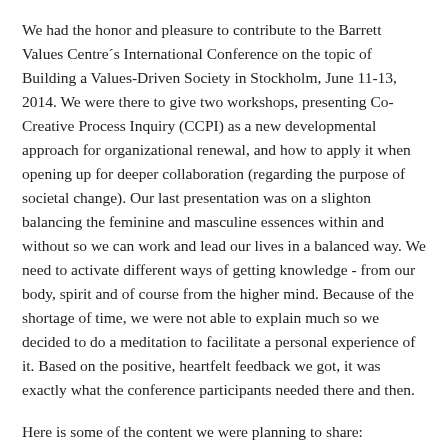We had the honor and pleasure to contribute to the Barrett Values Centre´s International Conference on the topic of Building a Values-Driven Society in Stockholm, June 11-13, 2014. We were there to give two workshops, presenting Co-Creative Process Inquiry (CCPI) as a new developmental approach for organizational renewal, and how to apply it when opening up for deeper collaboration (regarding the purpose of societal change). Our last presentation was on a slighton balancing the feminine and masculine essences within and without so we can work and lead our lives in a balanced way. We need to activate different ways of getting knowledge - from our body, spirit and of course from the higher mind. Because of the shortage of time, we were not able to explain much so we decided to do a meditation to facilitate a personal experience of it. Based on the positive, heartfelt feedback we got, it was exactly what the conference participants needed there and then.
Here is some of the content we were planning to share:
We are honored to be here to talk about the feminine essence in leadership and today´s society. We didn't know what this topic would require from us to